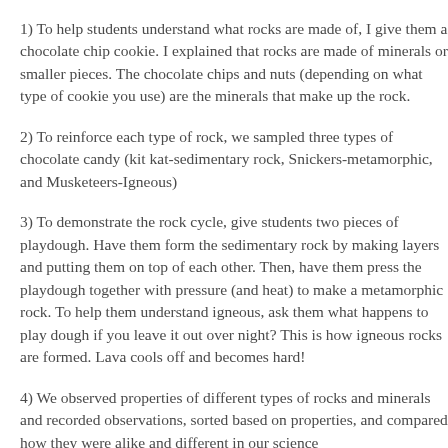1) To help students understand what rocks are made of, I give them a chocolate chip cookie. I explained that rocks are made of minerals or smaller pieces. The chocolate chips and nuts (depending on what type of cookie you use) are the minerals that make up the rock.
2) To reinforce each type of rock, we sampled three types of chocolate candy (kit kat-sedimentary rock, Snickers-metamorphic, and Musketeers-Igneous)
3) To demonstrate the rock cycle, give students two pieces of playdough. Have them form the sedimentary rock by making layers and putting them on top of each other. Then, have them press the playdough together with pressure (and heat) to make a metamorphic rock. To help them understand igneous, ask them what happens to play dough if you leave it out over night? This is how igneous rocks are formed. Lava cools off and becomes hard!
4) We observed properties of different types of rocks and minerals and recorded observations, sorted based on properties, and compared how they were alike and different in our science